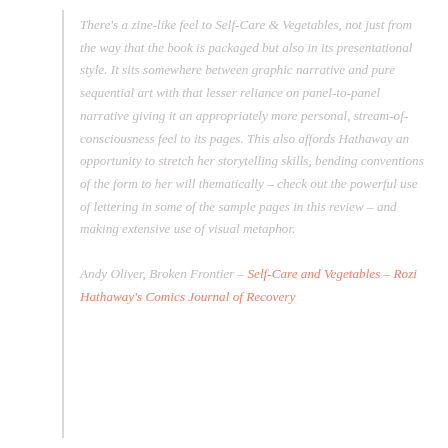There's a zine-like feel to Self-Care & Vegetables, not just from the way that the book is packaged but also in its presentational style. It sits somewhere between graphic narrative and pure sequential art with that lesser reliance on panel-to-panel narrative giving it an appropriately more personal, stream-of-consciousness feel to its pages. This also affords Hathaway an opportunity to stretch her storytelling skills, bending conventions of the form to her will thematically – check out the powerful use of lettering in some of the sample pages in this review – and making extensive use of visual metaphor.
Andy Oliver, Broken Frontier – Self-Care and Vegetables – Rozi Hathaway's Comics Journal of Recovery